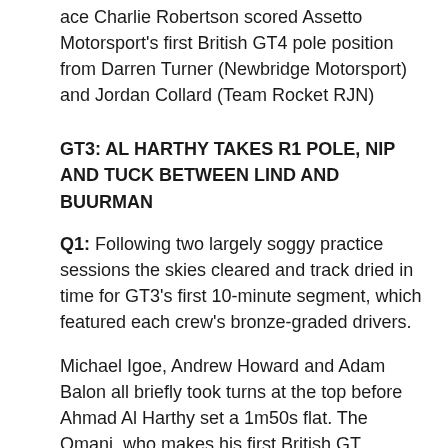ace Charlie Robertson scored Assetto Motorsport's first British GT4 pole position from Darren Turner (Newbridge Motorsport) and Jordan Collard (Team Rocket RJN)
GT3: AL HARTHY TAKES R1 POLE, NIP AND TUCK BETWEEN LIND AND BUURMAN
Q1: Following two largely soggy practice sessions the skies cleared and track dried in time for GT3's first 10-minute segment, which featured each crew's bronze-graded drivers.
Michael Igoe, Andrew Howard and Adam Balon all briefly took turns at the top before Ahmad Al Harthy set a 1m50s flat. The Omani, who makes his first British GT appearance since 2015 this weekend, then lowered the session best again to secure pole.
Instead, attention shifted to who would join TF Sport's Aston Martin on the front row.